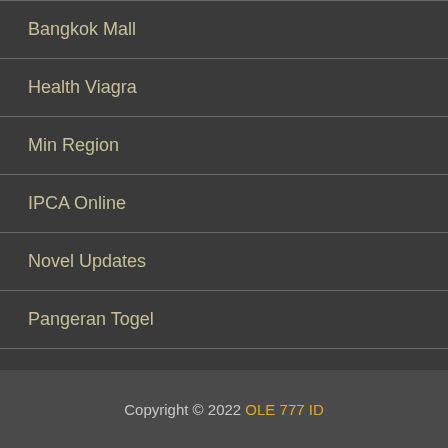Bangkok Mall
Health Viagra
Min Region
IPCA Online
Novel Updates
Pangeran Togel
Activation Kaspersky
Nanang Hatin Shop | online shop store
Copyright © 2022 OLE 777 ID